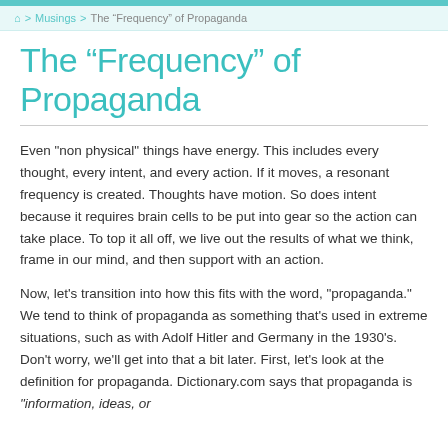🏠 > Musings > The “Frequency” of Propaganda
The “Frequency” of Propaganda
Even "non physical" things have energy. This includes every thought, every intent, and every action. If it moves, a resonant frequency is created. Thoughts have motion. So does intent because it requires brain cells to be put into gear so the action can take place. To top it all off, we live out the results of what we think, frame in our mind, and then support with an action.
Now, let's transition into how this fits with the word, "propaganda." We tend to think of propaganda as something that's used in extreme situations, such as with Adolf Hitler and Germany in the 1930's. Don't worry, we'll get into that a bit later. First, let's look at the definition for propaganda. Dictionary.com says that propaganda is “information, ideas, or